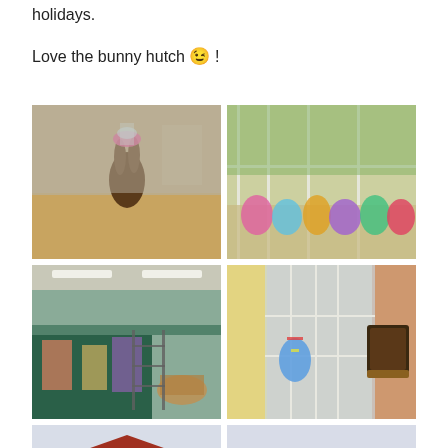holidays.
Love the bunny hutch 😉 !
[Figure (photo): Interior of a candy/gift shop with a large chocolate bunny on a counter, pink bow on top, Easter basket displays]
[Figure (photo): Window display with colorful Easter egg decorations and wrapped candy treats on a windowsill, green garden outside]
[Figure (photo): Wide interior shot of a candy store with displays of Easter candies, baskets, and decorations on tables]
[Figure (photo): Window with Easter egg decorations hanging, yellow curtains, chocolate Easter display plaque on right side]
[Figure (photo): Exterior of Candy House building with red sign reading CANDY HOUSE]
[Figure (photo): Outdoor scene with power lines against cloudy sky, partial view of Easter egg decoration]